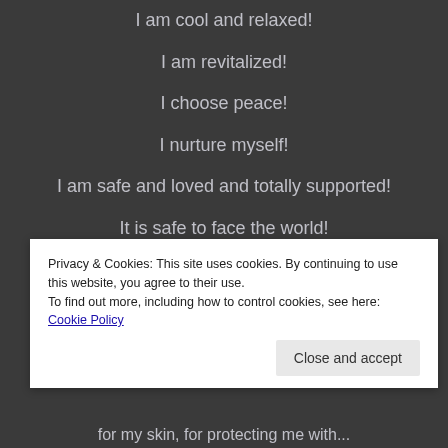I am cool and relaxed!
I am revitalized!
I choose peace!
I nurture myself!
I am safe and loved and totally supported!
It is safe to face the world!
I can do it!
I have healthy boundanes!
Privacy & Cookies: This site uses cookies. By continuing to use this website, you agree to their use.
To find out more, including how to control cookies, see here: Cookie Policy
Close and accept
for my skin, for protecting me with...